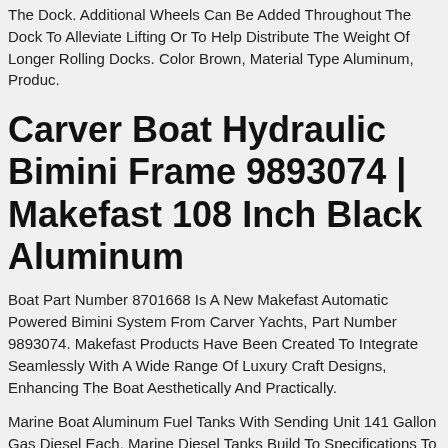The Dock. Additional Wheels Can Be Added Throughout The Dock To Alleviate Lifting Or To Help Distribute The Weight Of Longer Rolling Docks. Color Brown, Material Type Aluminum, Produc.
Carver Boat Hydraulic Bimini Frame 9893074 | Makefast 108 Inch Black Aluminum
Boat Part Number 8701668 Is A New Makefast Automatic Powered Bimini System From Carver Yachts, Part Number 9893074. Makefast Products Have Been Created To Integrate Seamlessly With A Wide Range Of Luxury Craft Designs, Enhancing The Boat Aesthetically And Practically.
Marine Boat Aluminum Fuel Tanks With Sending Unit 141 Gallon Gas Diesel Each. Marine Diesel Tanks Build To Specifications To Fit A 1969 Chris Craft Commander 38ft Which Increase The Holding Capacity To 142 Gallons From The Original 100 Gallons Capacity, Can Be Also Installed In Other Boats That Fit The Dimensions. The Price Is For Both